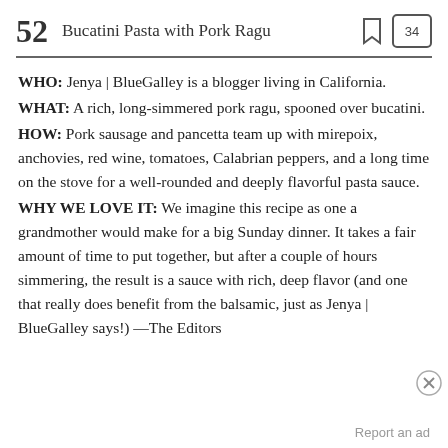52  Bucatini Pasta with Pork Ragu
WHO: Jenya | BlueGalley is a blogger living in California. WHAT: A rich, long-simmered pork ragu, spooned over bucatini. HOW: Pork sausage and pancetta team up with mirepoix, anchovies, red wine, tomatoes, Calabrian peppers, and a long time on the stove for a well-rounded and deeply flavorful pasta sauce. WHY WE LOVE IT: We imagine this recipe as one a grandmother would make for a big Sunday dinner. It takes a fair amount of time to put together, but after a couple of hours simmering, the result is a sauce with rich, deep flavor (and one that really does benefit from the balsamic, just as Jenya | BlueGalley says!) —The Editors
Report an ad